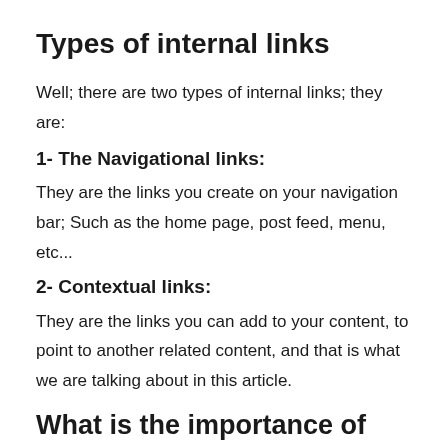Types of internal links
Well; there are two types of internal links; they are:
1- The Navigational links:
They are the links you create on your navigation bar; Such as the home page, post feed, menu, etc...
2- Contextual links:
They are the links you can add to your content, to point to another related content, and that is what we are talking about in this article.
What is the importance of